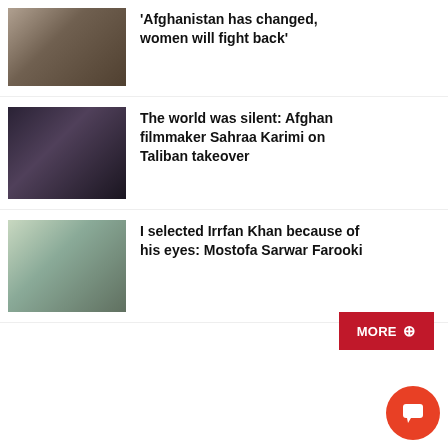[Figure (photo): Woman with glasses, dark hair, looking at camera]
'Afghanistan has changed, women will fight back'
[Figure (photo): Woman with headscarf in dark setting]
The world was silent: Afghan filmmaker Sahraa Karimi on Taliban takeover
[Figure (photo): Man in white shirt near another person with green cap]
I selected Irrfan Khan because of his eyes: Mostofa Sarwar Farooki
MORE +